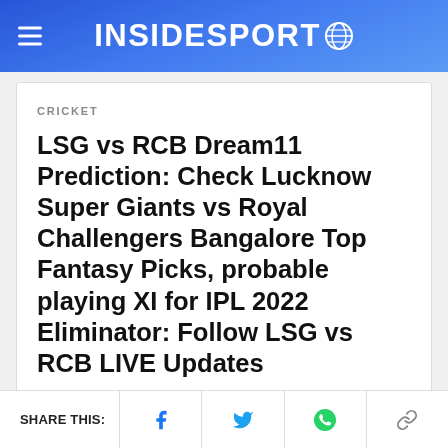INSIDESPORT
CRICKET
LSG vs RCB Dream11 Prediction: Check Lucknow Super Giants vs Royal Challengers Bangalore Top Fantasy Picks, probable playing XI for IPL 2022 Eliminator: Follow LSG vs RCB LIVE Updates
SHARE THIS: